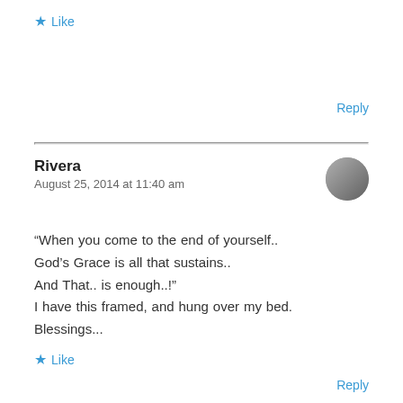★ Like
Reply
Rivera
August 25, 2014 at 11:40 am
“When you come to the end of yourself..
God’s Grace is all that sustains..
And That.. is enough..!”
I have this framed, and hung over my bed.
Blessings...
★ Like
Reply